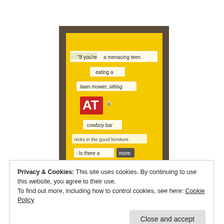[Figure (photo): A yellow collage/poem artwork mounted on a dark brown background. Cut-out text pieces read: 'If you're a menacing teen', 'eating a', 'lawn mower, sitting', 'AT' (large red letters), 'cowboy bar', 'nicks in the good furniture', ': Is there a more', 'suspicious', followed by a white book/object at bottom.]
Privacy & Cookies: This site uses cookies. By continuing to use this website, you agree to their use.
To find out more, including how to control cookies, see here: Cookie Policy
Close and accept